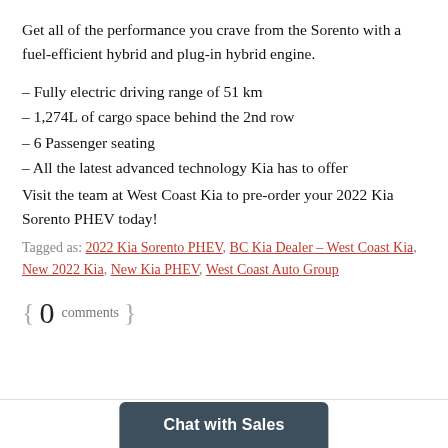Get all of the performance you crave from the Sorento with a fuel-efficient hybrid and plug-in hybrid engine.
– Fully electric driving range of 51 km
– 1,274L of cargo space behind the 2nd row
– 6 Passenger seating
– All the latest advanced technology Kia has to offer
Visit the team at West Coast Kia to pre-order your 2022 Kia Sorento PHEV today!
Tagged as: 2022 Kia Sorento PHEV, BC Kia Dealer – West Coast Kia, New 2022 Kia, New Kia PHEV, West Coast Auto Group
{ 0 comments }